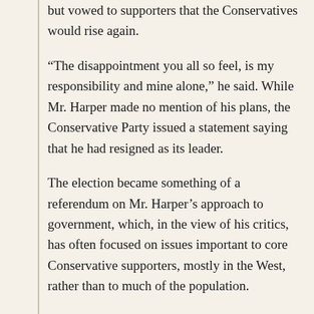but vowed to supporters that the Conservatives would rise again.
“The disappointment you all so feel, is my responsibility and mine alone,” he said. While Mr. Harper made no mention of his plans, the Conservative Party issued a statement saying that he had resigned as its leader.
The election became something of a referendum on Mr. Harper’s approach to government, which, in the view of his critics, has often focused on issues important to core Conservative supporters, mostly in the West, rather than to much of the population.
Dominic LeBlanc, a prominent Liberal member of Parliament who was handily re-elected in New Brunswick, attributed the party’s extraordinary revival, following a period during which many people forecast its extinction, to